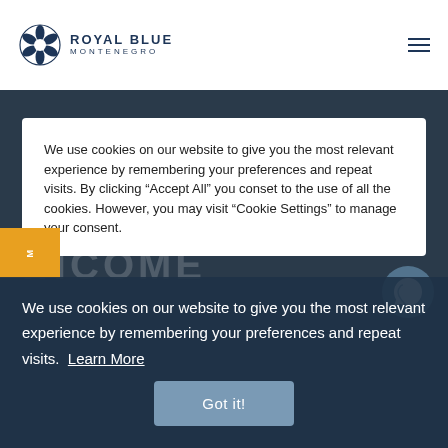[Figure (logo): Royal Blue Montenegro logo with snowflake/flower icon and text]
We use cookies on our website to give you the most relevant experience by remembering your preferences and repeat visits. By clicking “Accept All” you conset to the use of all the cookies. However, you may visit “Cookie Settings” to manage your consent.
We use cookies on our website to give you the most relevant experience by remembering your preferences and repeat visits. Learn More
Got it!